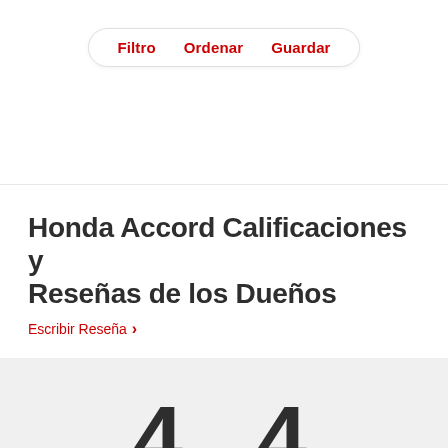[Figure (screenshot): Navigation filter bar with three options: Filtro, Ordenar, Guardar in red text on a rounded pill-shaped white background with border]
Honda Accord Calificaciones y Reseñas de los Dueños
Escribir Reseña >
[Figure (screenshot): Large rating numbers '4 4' displayed in bold dark text on a light gray background section, partially cut off at bottom]